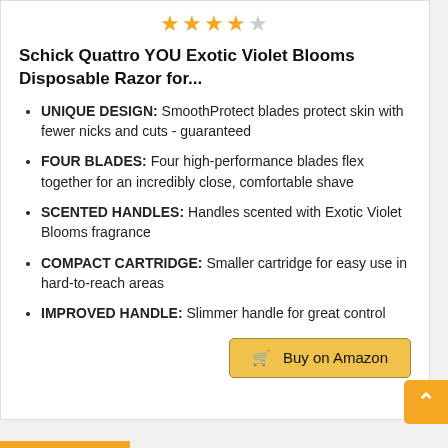[Figure (other): 4 out of 5 stars rating (4 filled gold stars, 1 empty star)]
Schick Quattro YOU Exotic Violet Blooms Disposable Razor for...
UNIQUE DESIGN: SmoothProtect blades protect skin with fewer nicks and cuts - guaranteed
FOUR BLADES: Four high-performance blades flex together for an incredibly close, comfortable shave
SCENTED HANDLES: Handles scented with Exotic Violet Blooms fragrance
COMPACT CARTRIDGE: Smaller cartridge for easy use in hard-to-reach areas
IMPROVED HANDLE: Slimmer handle for great control